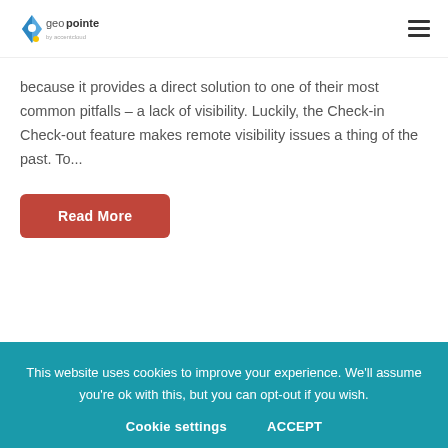geopointe
because it provides a direct solution to one of their most common pitfalls – a lack of visibility. Luckily, the Check-in Check-out feature makes remote visibility issues a thing of the past. To...
Read More
This website uses cookies to improve your experience. We'll assume you're ok with this, but you can opt-out if you wish. Cookie settings ACCEPT